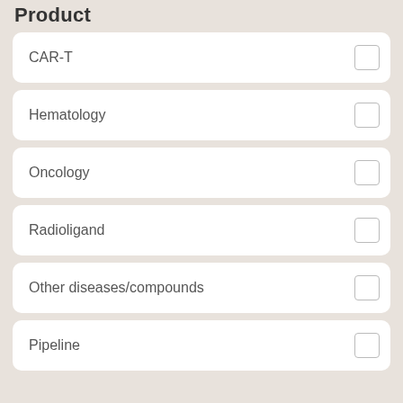Product
CAR-T
Hematology
Oncology
Radioligand
Other diseases/compounds
Pipeline